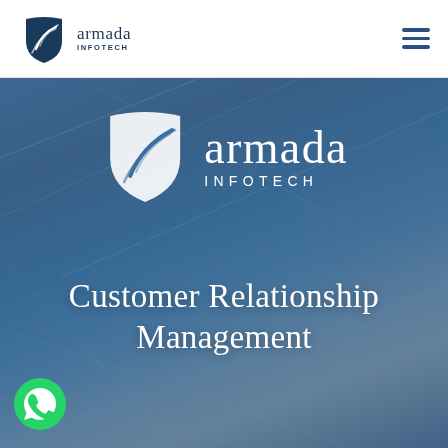[Figure (logo): Armada Infotech logo in header — shield icon with white diagonal lines on blue/dark blue background, text 'armada INFOTECH' in dark blue]
[Figure (logo): Hamburger menu icon — three horizontal dark blue lines stacked]
[Figure (illustration): Hero banner with blue-tinted tech/industrial background image, overlaid with large Armada Infotech logo (white shield icon and white serif text 'armada INFOTECH') and headline text]
Customer Relationship Management
[Figure (logo): WhatsApp green round icon at bottom left]